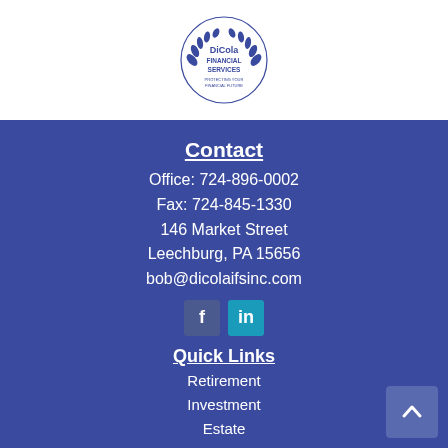[Figure (logo): DiCola Financial Services logo with laurel wreath and circular emblem in dark blue]
Contact
Office: 724-896-0002
Fax: 724-845-1330
146 Market Street
Leechburg, PA 15656
bob@dicolaifsinc.com
[Figure (other): Facebook and LinkedIn social media icons]
Quick Links
Retirement
Investment
Estate
Insurance